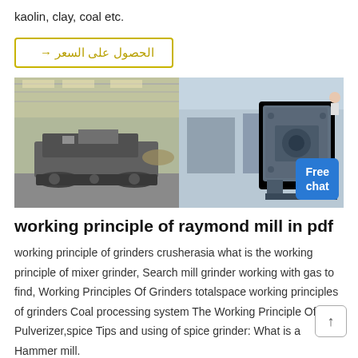kaolin, clay, coal etc.
→ الحصول على السعر
[Figure (photo): Two industrial grinding/crushing machines in a factory setting. Left side shows a mobile crusher/mill on tracks in a warehouse. Right side shows a large grey industrial mill machine. A 'Free chat' badge in blue is overlaid on the bottom right.]
working principle of raymond mill in pdf
working principle of grinders crusherasia what is the working principle of mixer grinder, Search mill grinder working with gas to find, Working Principles Of Grinders totalspace working principles of grinders Coal processing system The Working Principle Of Pulverizer,spice Tips and using of spice grinder: What is a Hammer mill.